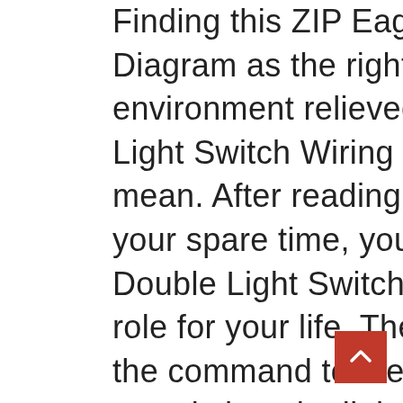Finding this ZIP Eagle Double Light Switch Wiring Diagram as the right baby book really makes you environment relieved. This PDF Eagle Double Light Switch Wiring Diagram is what we surely mean. After reading page by page in lonesome your spare time, you can see how this PDF Eagle Double Light Switch Wiring Diagram will play a role for your life. The slave(s) essentially sends the command to the master and the master dims or switches the lights, this ensures a chain of command and a range of no more than 0-100% is attempted. This is achieved by wiring the two terminals of two switches together so that a path is established when the switches are in the same direction, and a path is not established when the switches are not in the same direction. After getting